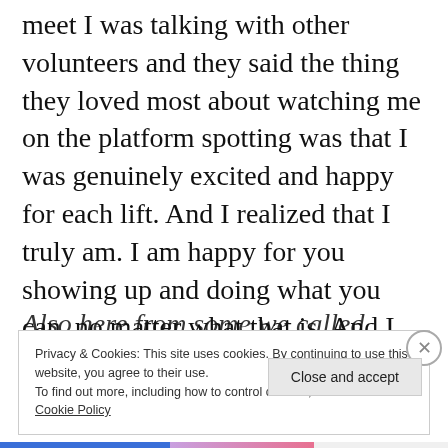meet I was talking with other volunteers and they said the thing they loved most about watching me on the platform spotting was that I was genuinely excited and happy for each lift. And I realized that I truly am. I am happy for you showing up and doing what you can, no matter what that is. And I will cheer as loud as need.
Also here from some we called
Privacy & Cookies: This site uses cookies. By continuing to use this website, you agree to their use.
To find out more, including how to control cookies, see here:
Cookie Policy
Close and accept